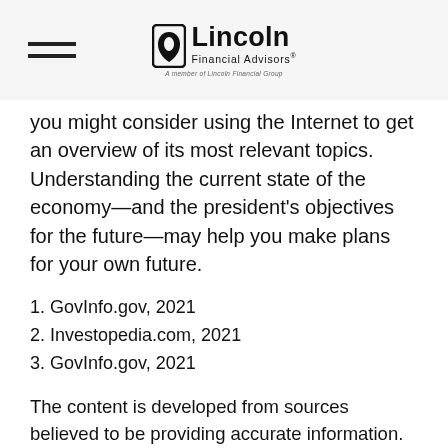Lincoln Financial Advisors — A member of Lincoln Financial Group
you might consider using the Internet to get an overview of its most relevant topics. Understanding the current state of the economy—and the president's objectives for the future—may help you make plans for your own future.
1. GovInfo.gov, 2021
2. Investopedia.com, 2021
3. GovInfo.gov, 2021
The content is developed from sources believed to be providing accurate information. The information in this material is not intended as tax or legal advice. It may not be used for the purpose of avoiding any federal tax penalties. Please consult legal or tax professionals for specific information regarding your individual situation. This material was developed and produced by FMG Suite